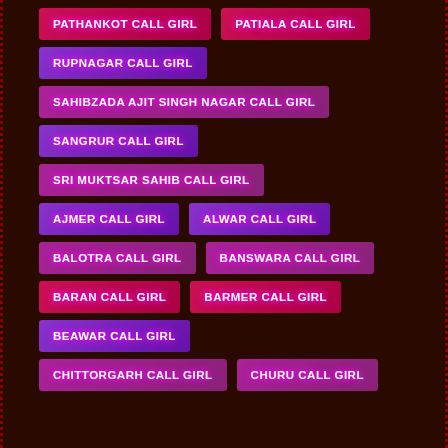PATHANKOT CALL GIRL
PATIALA CALL GIRL
RUPNAGAR CALL GIRL
SAHIBZADA AJIT SINGH NAGAR CALL GIRL
SANGRUR CALL GIRL
SRI MUKTSAR SAHIB CALL GIRL
AJMER CALL GIRL
ALWAR CALL GIRL
BALOTRA CALL GIRL
BANSWARA CALL GIRL
BARAN CALL GIRL
BARMER CALL GIRL
BEAWAR CALL GIRL
CHITTORGARH CALL GIRL
CHURU CALL GIRL